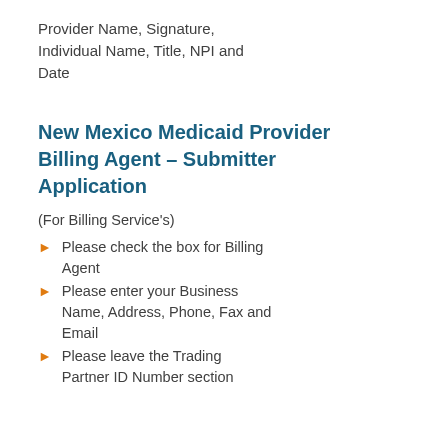Provider Name, Signature, Individual Name, Title, NPI and Date
New Mexico Medicaid Provider Billing Agent – Submitter Application
(For Billing Service's)
Please check the box for Billing Agent
Please enter your Business Name, Address, Phone, Fax and Email
Please leave the Trading Partner ID Number section